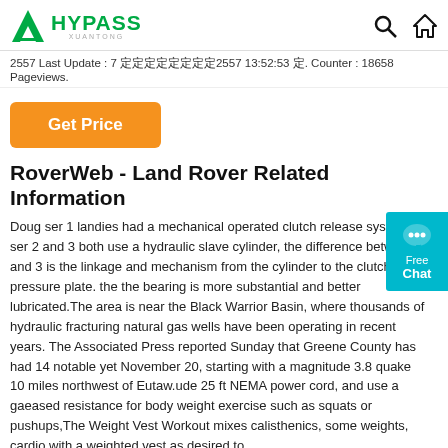HYPASS XUANTONG — logo header with search and home icons
2557 Last Update : 7 ████████2557 13:52:53 █. Counter : 18658 Pageviews.
[Figure (other): Orange Get Price button]
[Figure (other): Free Chat widget (cyan/teal), right side]
RoverWeb - Land Rover Related Information
Doug ser 1 landies had a mechanical operated clutch release system, ser 2 and 3 both use a hydraulic slave cylinder, the difference between 2 and 3 is the linkage and mechanism from the cylinder to the clutch pressure plate. the the bearing is more substantial and better lubricated.The area is near the Black Warrior Basin, where thousands of hydraulic fracturing natural gas wells have been operating in recent years. The Associated Press reported Sunday that Greene County has had 14 notable yet November 20, starting with a magnitude 3.8 quake 10 miles northwest of Eutaw.ude 25 ft NEMA power cord, and use a gaeased resistance for body weight exercise such as squats or pushups,The Weight Vest Workout mixes calisthenics, some weights, cardio with a weighted vest as desired to